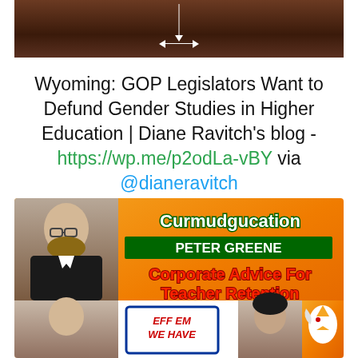[Figure (photo): Sepia-toned image of a building with white measurement arrows overlaid]
Wyoming: GOP Legislators Want to Defund Gender Studies in Higher Education | Diane Ravitch's blog - https://wp.me/p2odLa-vBY via @dianeravitch
[Figure (illustration): Curmudgucation blog image featuring Peter Greene with orange background. Title reads 'Curmudgucation PETER GREENE' with 'Corporate Advice For Teacher Retention' text. Bottom strip shows people and 'EFF EM WE HAVE' in a blue-bordered box.]